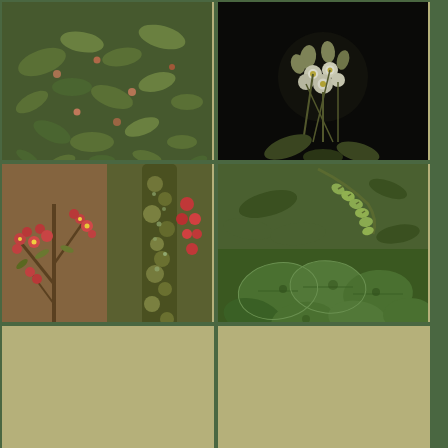[Figure (photo): Close-up photo of California Jacob's ladder (Polemonium californicum) plant with small green leaves and tiny pink/purple flowers]
California Jacob's ladder 45% Polemonium californicum
[Figure (photo): Close-up photo of ballhead sandwort (Eremogone congesta) showing white clustered flowers against dark background]
ballhead sandwort 45% Eremogone congesta
[Figure (photo): Two photos of curl-leaf mountain-mahogany (Cercocarpus ledifolius) showing reddish-brown small flowers on twiggy branches]
curl-leaf mountain-mahogany Cercocarpus ledifolius 45%
[Figure (photo): Two photos of one-sided wintergreen (Orthilia secunda): top shows drooping green buds, bottom shows green leaves]
one-sided wintergreen 45% Orthilia secunda